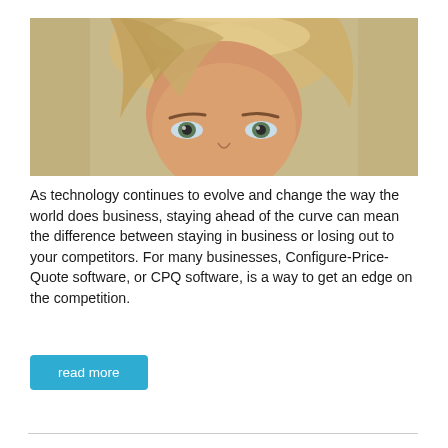[Figure (photo): Close-up portrait photo of a blonde woman with bangs against a tan/beige background, cropped to show from forehead to just below eyes/nose area.]
As technology continues to evolve and change the way the world does business, staying ahead of the curve can mean the difference between staying in business or losing out to your competitors. For many businesses, Configure-Price-Quote software, or CPQ software, is a way to get an edge on the competition.
read more